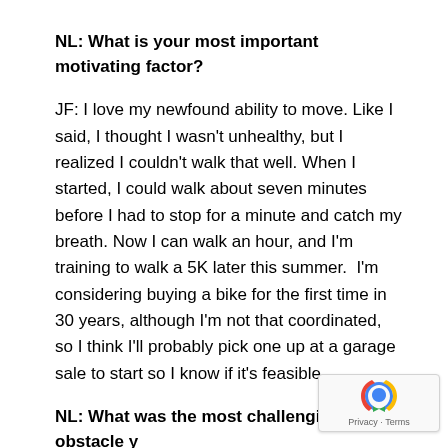NL: What is your most important motivating factor?
JF: I love my newfound ability to move. Like I said, I thought I wasn't unhealthy, but I realized I couldn't walk that well. When I started, I could walk about seven minutes before I had to stop for a minute and catch my breath. Now I can walk an hour, and I'm training to walk a 5K later this summer.  I'm considering buying a bike for the first time in 30 years, although I'm not that coordinated, so I think I'll probably pick one up at a garage sale to start so I know if it's feasible.
NL: What was the most challenging obstacle you faced during your weight loss journey?